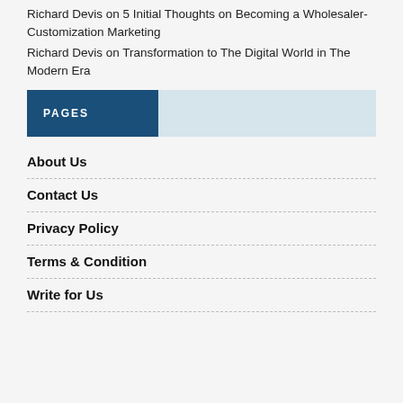Richard Devis on 5 Initial Thoughts on Becoming a Wholesaler- Customization Marketing
Richard Devis on Transformation to The Digital World in The Modern Era
PAGES
About Us
Contact Us
Privacy Policy
Terms & Condition
Write for Us